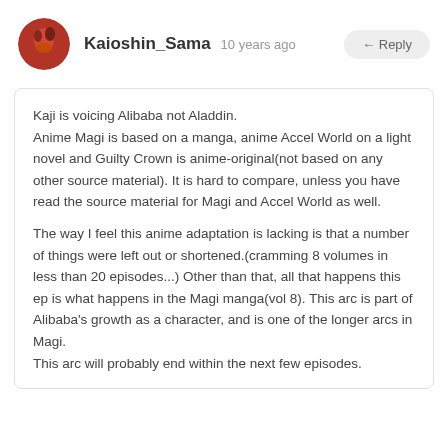[Figure (photo): Round avatar image of user Kaioshin_Sama showing an anime-style character with red/orange tones]
Kaioshin_Sama  10 years ago
← Reply
Kaji is voicing Alibaba not Aladdin.
Anime Magi is based on a manga, anime Accel World on a light novel and Guilty Crown is anime-original(not based on any other source material). It is hard to compare, unless you have read the source material for Magi and Accel World as well.

The way I feel this anime adaptation is lacking is that a number of things were left out or shortened.(cramming 8 volumes in less than 20 episodes...) Other than that, all that happens this ep is what happens in the Magi manga(vol 8). This arc is part of Alibaba's growth as a character, and is one of the longer arcs in Magi.
This arc will probably end within the next few episodes.